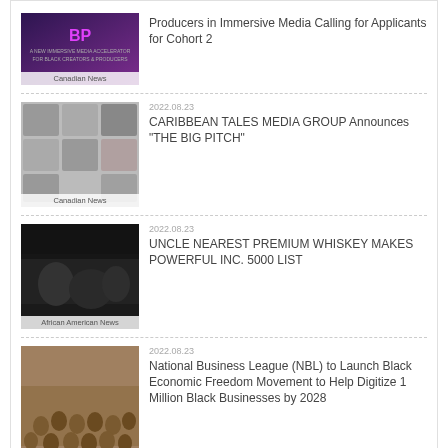[Figure (photo): Thumbnail image with purple background and text, Canadian News badge]
Producers in Immersive Media Calling for Applicants for Cohort 2
[Figure (photo): Grid of faces/people photos, Canadian News badge]
2022.08.23
CARIBBEAN TALES MEDIA GROUP Announces “THE BIG PITCH”
[Figure (photo): Dark photo of people in theater/venue, African American News badge]
2022.08.23
UNCLE NEAREST PREMIUM WHISKEY MAKES POWERFUL INC. 5000 LIST
[Figure (photo): Sepia/vintage group photo, African American News badge]
2022.08.23
National Business League (NBL) to Launch Black Economic Freedom Movement to Help Digitize 1 Million Black Businesses by 2028
Related posts
[Figure (photo): Dark image thumbnail for related post]
August 22, 2022